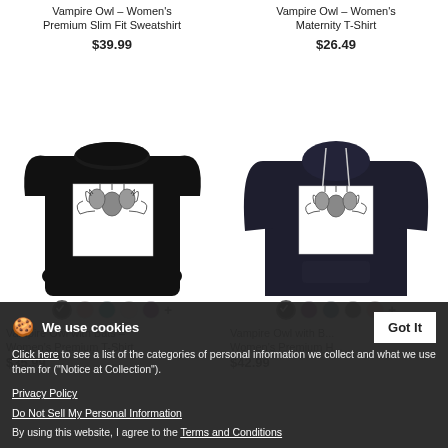Vampire Owl – Women's Premium Slim Fit Sweatshirt
$39.99
Vampire Owl – Women's Maternity T-Shirt
$26.49
[Figure (photo): Black women's fitted t-shirt with a graphic print of hanging bats on the chest]
[Figure (photo): Dark navy women's premium hoodie with a graphic print of hanging bats on the front]
Vampire Owl with Bats – Women's Premium T-Shirt
$35.99
Vampire Owl with B... – Women's Premium H...
$42.99
We use cookies
Click here to see a list of the categories of personal information we collect and what we use them for ("Notice at Collection").
Privacy Policy
Do Not Sell My Personal Information
By using this website, I agree to the Terms and Conditions